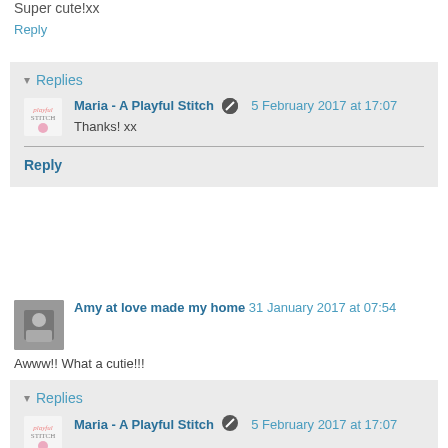Super cute!xx
Reply
Replies
Maria - A Playful Stitch  5 February 2017 at 17:07
Thanks! xx
Reply
Amy at love made my home  31 January 2017 at 07:54
Awww!! What a cutie!!!
Reply
Replies
Maria - A Playful Stitch  5 February 2017 at 17:07
Thanks! x